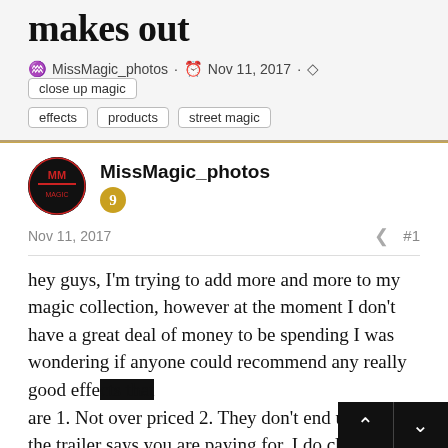makes out
MissMagic_photos · Nov 11, 2017 · close up magic effects products street magic
MissMagic_photos
Nov 11, 2017  #1
hey guys, I'm trying to add more and more to my magic collection, however at the moment I don't have a great deal of money to be spending I was wondering if anyone could recommend any really good effects that are 1. Not over priced 2. They don't end up being the trailer says you are paying for. I do close u...